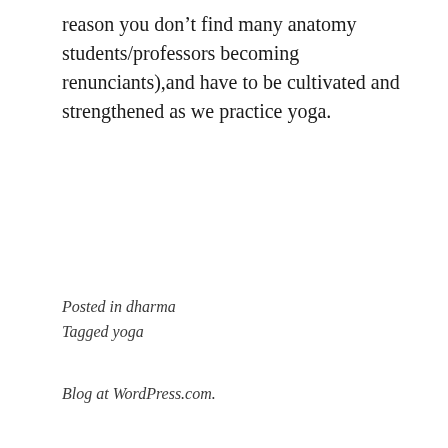reason you don’t find many anatomy students/professors becoming renunciants),and have to be cultivated and strengthened as we practice yoga.
Posted in dharma
Tagged yoga
Blog at WordPress.com.